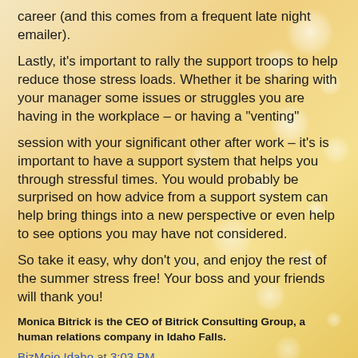career (and this comes from a frequent late night emailer).
Lastly, it's important to rally the support troops to help reduce those stress loads. Whether it be sharing with your manager some issues or struggles you are having in the workplace – or having a "venting"
session with your significant other after work – it's is important to have a support system that helps you through stressful times. You would probably be surprised on how advice from a support system can help bring things into a new perspective or even help to see options you may have not considered.
So take it easy, why don't you, and enjoy the rest of the summer stress free! Your boss and your friends will thank you!
Monica Bitrick is the CEO of Bitrick Consulting Group, a human relations company in Idaho Falls.
BizMojo Idaho at 3:03 PM